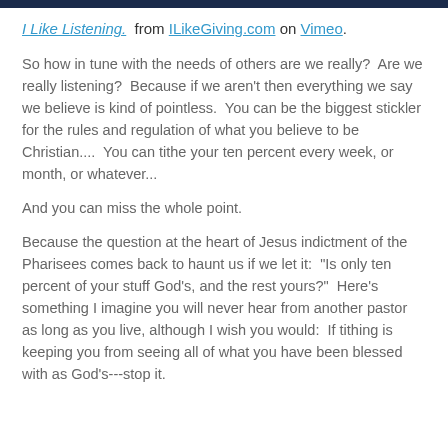I Like Listening. from ILikeGiving.com on Vimeo.
So how in tune with the needs of others are we really?  Are we really listening?  Because if we aren't then everything we say we believe is kind of pointless.  You can be the biggest stickler for the rules and regulation of what you believe to be Christian....  You can tithe your ten percent every week, or month, or whatever...
And you can miss the whole point.
Because the question at the heart of Jesus indictment of the Pharisees comes back to haunt us if we let it:  "Is only ten percent of your stuff God's, and the rest yours?"  Here's something I imagine you will never hear from another pastor as long as you live, although I wish you would:  If tithing is keeping you from seeing all of what you have been blessed with as God's---stop it.